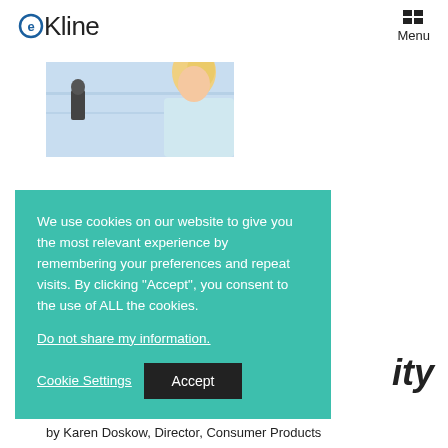eKline | Menu
[Figure (photo): Partial photo of a woman with blonde hair in what appears to be a business/retail environment with glass railings visible]
We use cookies on our website to give you the most relevant experience by remembering your preferences and repeat visits. By clicking “Accept”, you consent to the use of ALL the cookies.
Do not share my information.
Cookie Settings
Accept
ity
by Karen Doskow, Director, Consumer Products